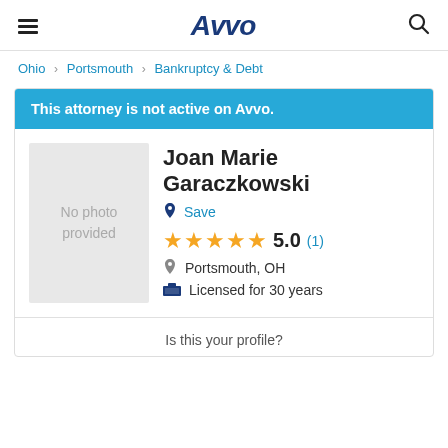Avvo
Ohio > Portsmouth > Bankruptcy & Debt
This attorney is not active on Avvo.
Joan Marie Garaczkowski
Save
5.0 (1)
Portsmouth, OH
Licensed for 30 years
Is this your profile?